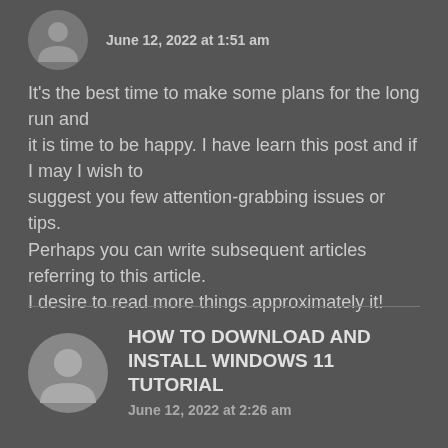June 12, 2022 at 1:51 am
It's the best time to make some plans for the long run and it is time to be happy. I have learn this post and if I may I wish to suggest you few attention-grabbing issues or tips. Perhaps you can write subsequent articles referring to this article. I desire to read more things approximately it!
HOW TO DOWNLOAD AND INSTALL WINDOWS 11 TUTORIAL
June 12, 2022 at 2:26 am